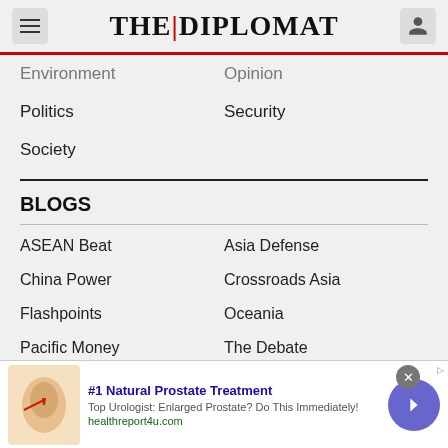THE DIPLOMAT
Environment
Opinion
Politics
Security
Society
BLOGS
ASEAN Beat
Asia Defense
China Power
Crossroads Asia
Flashpoints
Oceania
Pacific Money
The Debate
The Koreas
The Pulse
Tokyo Report
Trans-Pacific View
#1 Natural Prostate Treatment — Top Urologist: Enlarged Prostate? Do This Immediately! healthreport4u.com